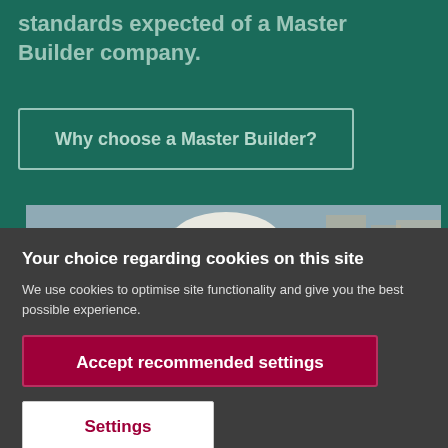standards expected of a Master Builder company.
Why choose a Master Builder?
[Figure (photo): Photo of a person wearing a white hard hat on a construction site, blurred background]
Your choice regarding cookies on this site
We use cookies to optimise site functionality and give you the best possible experience.
Accept recommended settings
Settings